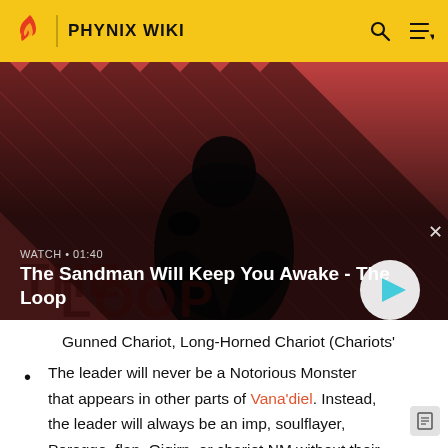PHYNIX WIKI
[Figure (screenshot): Video banner showing a dark-cloaked figure with a raven on shoulder against a red and dark striped background. Text overlay: WATCH • 01:40 / The Sandman Will Keep You Awake - The Loop. Play button visible bottom right.]
Gunned Chariot, Long-Horned Chariot (Chariots'
The leader will never be a Notorious Monster that appears in other parts of Vana'diel. Instead, the leader will always be an imp, soulflayer, Poroggo, flan, Qiqirn, or chariot NM without their respective family's usual